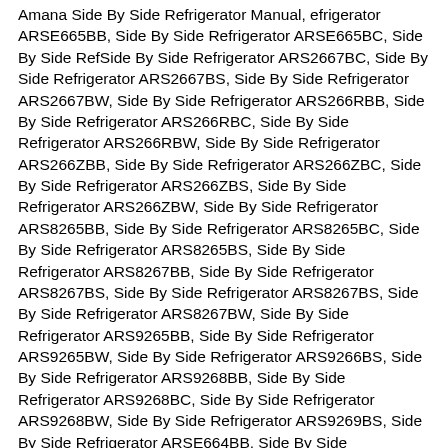Amana Side By Side Refrigerator Manual, efrigerator ARSE665BB, Side By Side Refrigerator ARSE665BC, Side By Side RefSide By Side Refrigerator ARS2667BC, Side By Side Refrigerator ARS2667BS, Side By Side Refrigerator ARS2667BW, Side By Side Refrigerator ARS266RBB, Side By Side Refrigerator ARS266RBC, Side By Side Refrigerator ARS266RBW, Side By Side Refrigerator ARS266ZBB, Side By Side Refrigerator ARS266ZBC, Side By Side Refrigerator ARS266ZBS, Side By Side Refrigerator ARS266ZBW, Side By Side Refrigerator ARS8265BB, Side By Side Refrigerator ARS8265BC, Side By Side Refrigerator ARS8265BS, Side By Side Refrigerator ARS8267BB, Side By Side Refrigerator ARS8267BS, Side By Side Refrigerator ARS8267BS, Side By Side Refrigerator ARS8267BW, Side By Side Refrigerator ARS9265BB, Side By Side Refrigerator ARS9265BW, Side By Side Refrigerator ARS9266BS, Side By Side Refrigerator ARS9268BB, Side By Side Refrigerator ARS9268BC, Side By Side Refrigerator ARS9268BW, Side By Side Refrigerator ARS9269BS, Side By Side Refrigerator ARSE664BB, Side By Side Refrigerator ARSE664BC, Side By Side Refrigerator ARSE664BS, Side By Side Refrigerator ARSE664BW, Side By Side Rrigerator ARSE665BS, Side By Side Refrigerator ARSE665BW, Side By Side Refrigerator ARSE667BB, Side By Side Refrigerator ARSE667BC, Side By Side Refrigerator ARSE667BS, Side By Side Refrigerator ARSE667BW, Side By Side Refrigerator ARSE66ZBB, Side By Side Refrigerator ARSE667BC, Side By Side Refrigerator ARSE667BS, Side